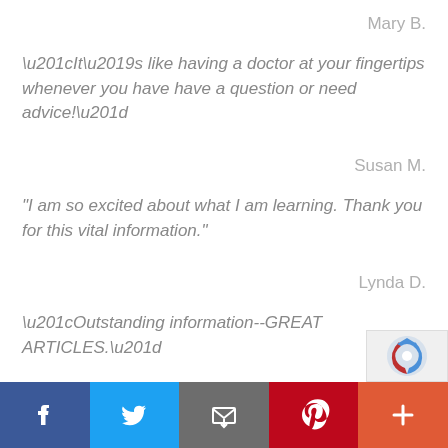Mary B.
“It’s like having a doctor at your fingertips whenever you have have a question or need advice!”
Susan M.
"I am so excited about what I am learning. Thank you for this vital information."
Lynda D.
“Outstanding information--GREAT ARTICLES.”
Michael D.
[Figure (logo): reCAPTCHA logo partial]
Facebook | Twitter | Email | Pinterest | More